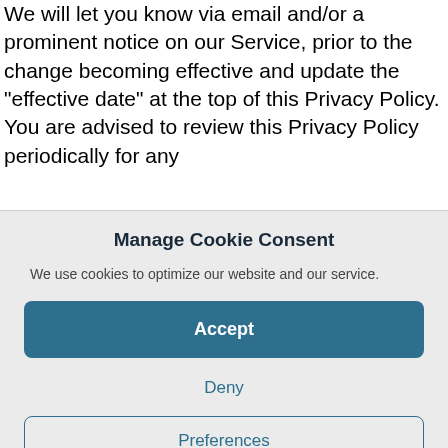We will let you know via email and/or a prominent notice on our Service, prior to the change becoming effective and update the "effective date" at the top of this Privacy Policy.
You are advised to review this Privacy Policy periodically for any
Manage Cookie Consent
We use cookies to optimize our website and our service.
Accept
Deny
Preferences